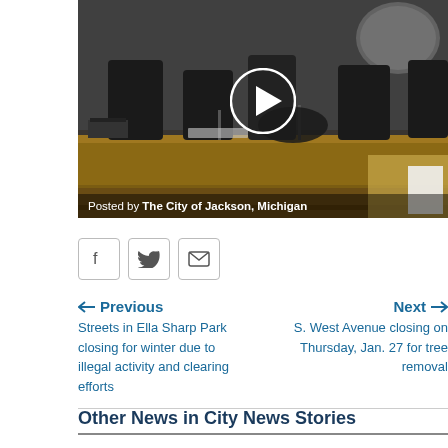[Figure (photo): Video thumbnail showing a city council chamber with wooden desks, chairs, and a Michigan seal on the wall. A play button overlay is shown in the center. Text overlay reads 'Posted by The City of Jackson, Michigan'.]
[Figure (other): Social media sharing icons: Facebook, Twitter, and Email]
Previous
Streets in Ella Sharp Park closing for winter due to illegal activity and clearing efforts
Next
S. West Avenue closing on Thursday, Jan. 27 for tree removal
Other News in City News Stories